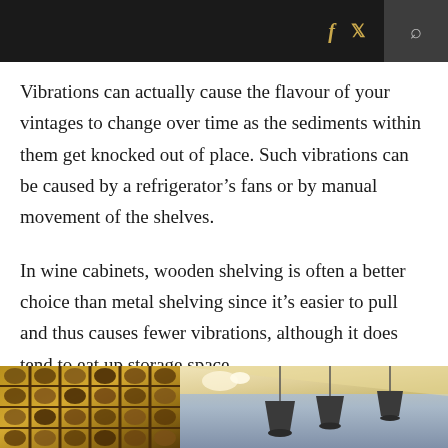f [twitter] [search]
Vibrations can actually cause the flavour of your vintages to change over time as the sediments within them get knocked out of place. Such vibrations can be caused by a refrigerator’s fans or by manual movement of the shelves.
In wine cabinets, wooden shelving is often a better choice than metal shelving since it’s easier to pull and thus causes fewer vibrations, although it does tend to eat up storage space.
[Figure (photo): Interior photo of a wine storage area showing wine racks on the left and pendant lights hanging from the ceiling on the right with warm ambient lighting.]